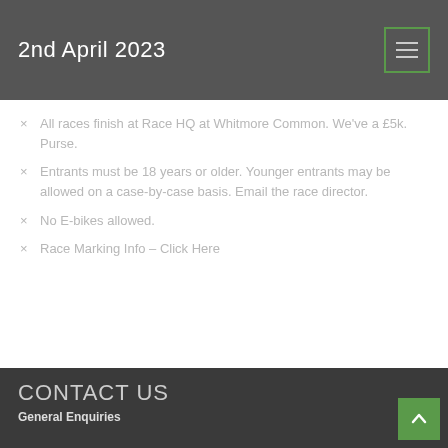2nd April 2023
All races finish at Race HQ at Whitmore Common. We've a £5k. Purse.
Entrants must be 18 years or older. Younger entrants may be allowed on a case-by-case basis. Email the race director.
No E-bikes allowed.
Race Marking Info – Click Here
CONTACT US
General Enquiries